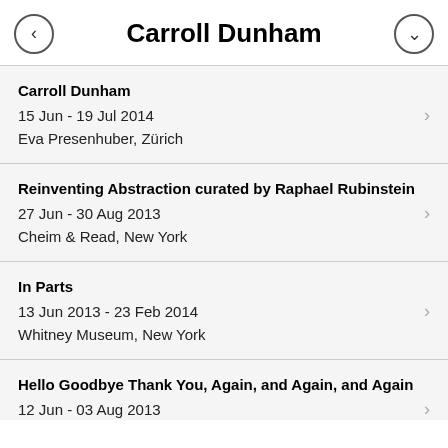Carroll Dunham
Carroll Dunham
15 Jun - 19 Jul 2014
Eva Presenhuber, Zürich
Reinventing Abstraction curated by Raphael Rubinstein
27 Jun - 30 Aug 2013
Cheim & Read, New York
In Parts
13 Jun 2013 - 23 Feb 2014
Whitney Museum, New York
Hello Goodbye Thank You, Again, and Again, and Again
12 Jun - 03 Aug 2013